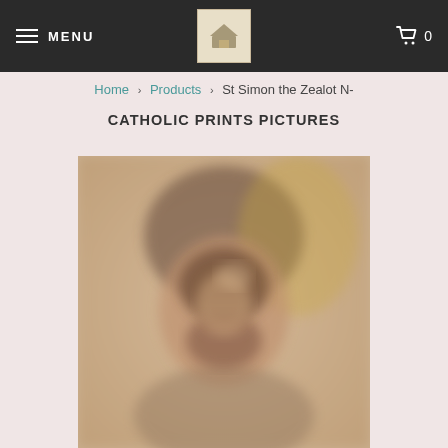MENU | [logo] | cart 0
Home > Products > St Simon the Zealot N-
CATHOLIC PRINTS PICTURES
[Figure (photo): Blurred product image of St Simon the Zealot religious print/painting showing a bearded man's face and upper body with warm earth tones]